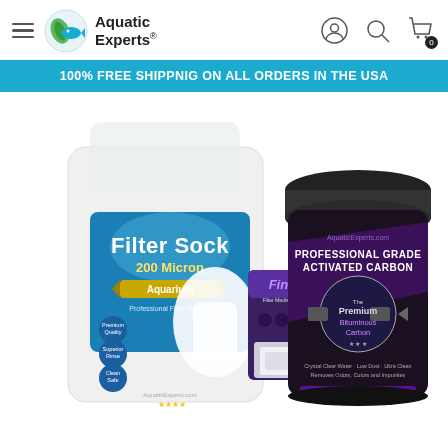Aquatic Experts — navigation header with hamburger menu, logo, user icon, search icon, cart (0)
100% FREE SHIPPNIG ON ALL ORDERS IN THE USA
[Figure (photo): Product photo showing three Aquatic Experts products: a white bag labeled 'Filter Sock 200 Micron Aquarium', a purple packet labeled 'Fine', and a dark jar labeled 'Professional Grade Activated Carbon Premium Bituminous Carbon' on a white background.]